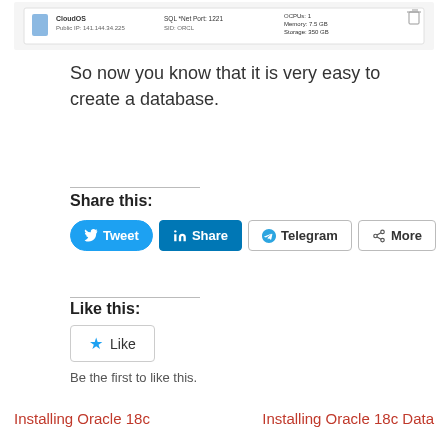[Figure (screenshot): Screenshot showing CloudOS database instance details with Public IP 141.144.34.225, SQL Net Port 1521, SID: ORCL, OCPUs: 1, Memory: 7.5 GB, Storage: 350 GB]
So now you know that it is very easy to create a database.
Share this:
Tweet  Share  Telegram  More
Like this:
Like
Be the first to like this.
Installing Oracle 18c
Installing Oracle 18c Data